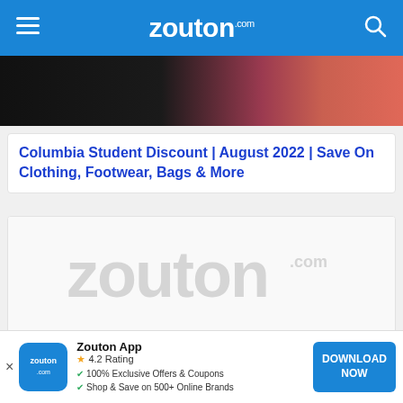zouton.com
[Figure (photo): Partial photo of people wearing clothing in dark and pink/red tones]
Columbia Student Discount | August 2022 | Save On Clothing, Footwear, Bags & More
[Figure (logo): Zouton.com watermark logo in light grey]
DHgate $40 Off Coupon 2022 (August Edition) | Save On Clothing, Accessories, Electronics, Etc
Zouton App — 4.2 Rating — 100% Exclusive Offers & Coupons — Shop & Save on 500+ Online Brands — DOWNLOAD NOW